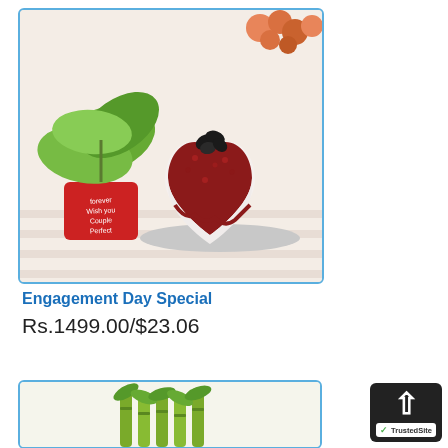[Figure (photo): A heart-shaped red velvet cake on a silver tray beside a small potted plant with green leaves in a red pot with text 'Wish you Couple Perfect', and orange flowers visible in the background, on a white wooden surface.]
Engagement Day Special
Rs.1499.00/$23.06
[Figure (photo): Partial view of a green plant (bamboo or similar) inside a product card with blue border, cropped at bottom of page.]
[Figure (other): TrustedSite badge with dark background, white upward arrow, and TrustedSite logo with green checkmark.]